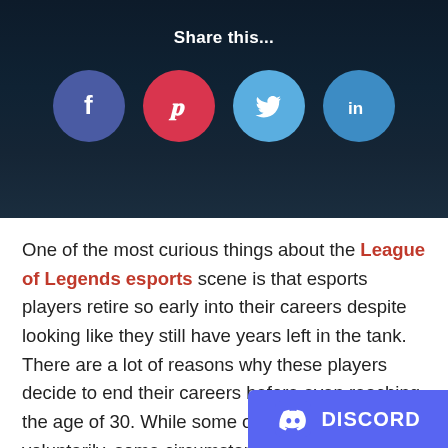Share this...
[Figure (infographic): Four social share buttons: Facebook (blue-purple circle), Pinterest (red circle), Twitter (light blue circle), LinkedIn (blue circle)]
One of the most curious things about the League of Legends esports scene is that esports players retire so early into their careers despite looking like they still have years left in the tank. There are a lot of reasons why these players decide to end their careers before even reaching the age of 30. While some of them are done voluntarily, some circumstantial reasons for the player out of the esports scene, causing the team and never return into the limel
[Figure (logo): Discord badge with Discord logo icon and text DISCORD on purple background]